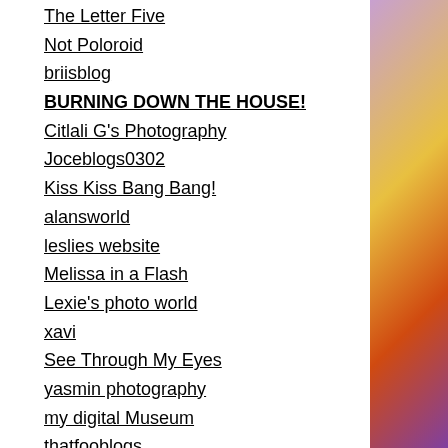The Letter Five
Not Poloroid
briisblog
BURNING DOWN THE HOUSE!
Citlali G's Photography
Joceblogs0302
Kiss Kiss Bang Bang!
alansworld
leslies website
Melissa in a Flash
Lexie's photo world
xavi
See Through My Eyes
yasmin photography
my digital Museum
thatfooblogs
Perception of Beauty